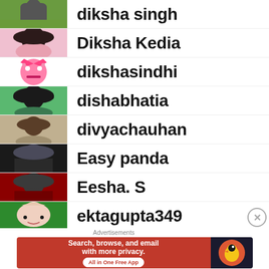diksha singh
Diksha Kedia
dikshasindhi
dishabhatia
divyachauhan
Easy panda
Eesha. S
ektagupta349
Advertisements
[Figure (other): DuckDuckGo advertisement banner: Search, browse, and email with more privacy. All in One Free App]